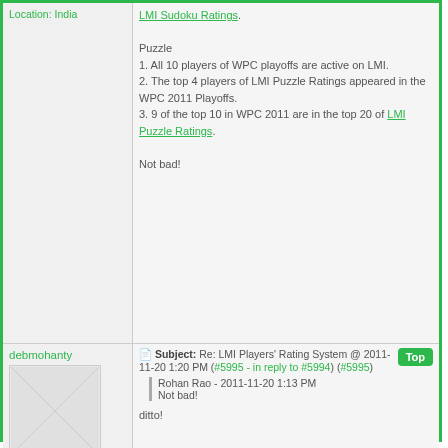Location: India
LMI Sudoku Ratings.

Puzzle
1. All 10 players of WPC playoffs are active on LMI.
2. The top 4 players of LMI Puzzle Ratings appeared in the WPC 2011 Playoffs.
3. 9 of the top 10 in WPC 2011 are in the top 20 of LMI Puzzle Ratings.

Not bad!
debmohanty
Subject: Re: LMI Players' Rating System @ 2011-11-20 1:20 PM (#5995 - in reply to #5994) (#5995)
Rohan Rao - 2011-11-20 1:13 PM
Not bad!
ditto!
Location: India
neerajmehrotra
Subject: Re: LMI Players' Rating System @ 2011-11-20 1:54 PM (#5998 - in reply to #1357) (#5998)
That gives a real good feeling...............
Posts: 327
Location: India